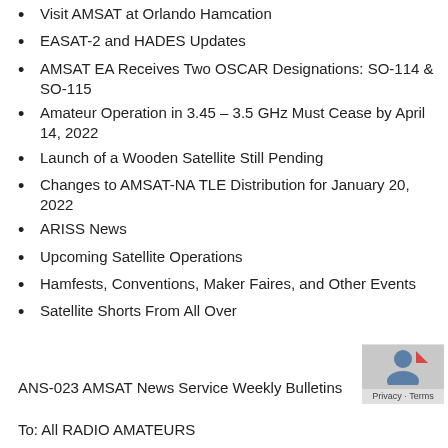Visit AMSAT at Orlando Hamcation
EASAT-2 and HADES Updates
AMSAT EA Receives Two OSCAR Designations: SO-114 & SO-115
Amateur Operation in 3.45 – 3.5 GHz Must Cease by April 14, 2022
Launch of a Wooden Satellite Still Pending
Changes to AMSAT-NA TLE Distribution for January 20, 2022
ARISS News
Upcoming Satellite Operations
Hamfests, Conventions, Maker Faires, and Other Events
Satellite Shorts From All Over
ANS-023 AMSAT News Service Weekly Bulletins
To: All RADIO AMATEURS